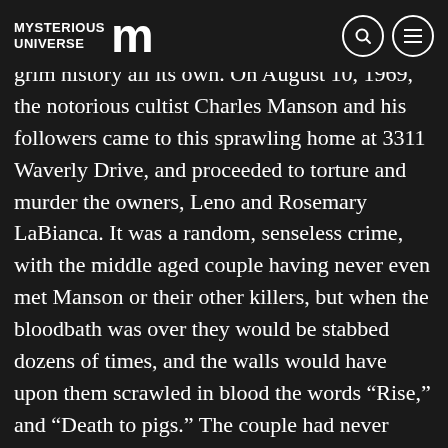MYSTERIOUS UNIVERSE
grim history all its own. On August 10, 1969, the notorious cultist Charles Manson and his followers came to this sprawling home at 3311 Waverly Drive, and proceeded to torture and murder the owners, Leno and Rosemary LaBianca. It was a random, senseless crime, with the middle aged couple having never even met Manson or their other killers, but when the bloodbath was over they would be stabbed dozens of times, and the walls would have upon them scrawled in blood the words “Rise,” and “Death to pigs.” The couple had never done anything to deserve this, had no known enemies, and it was thought that they just had been in the wrong place at the wrong time when their killers had been out thirsty for blood after just having